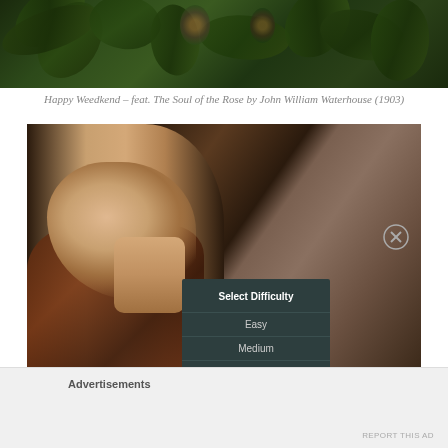[Figure (photo): Top portion of an image showing cannabis leaves and peacock feather-like decorative background, dark green tones]
Happy Weedkend – feat. The Soul of the Rose by John William Waterhouse (1903)
[Figure (screenshot): Screenshot of a painting-based puzzle game showing a woman reclining with head tilted back (Pre-Raphaelite style painting), overlaid with a dark teal 'Select Difficulty' menu with options: Easy, Medium, Hard, and a partially visible fourth option. A close (X) button appears in the lower right.]
Advertisements
REPORT THIS AD